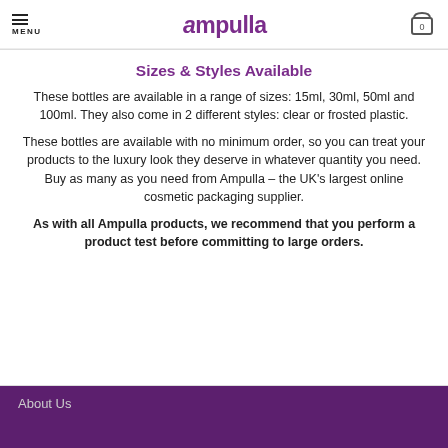MENU | Ampulla | 0
Sizes & Styles Available
These bottles are available in a range of sizes: 15ml, 30ml, 50ml and 100ml. They also come in 2 different styles: clear or frosted plastic.
These bottles are available with no minimum order, so you can treat your products to the luxury look they deserve in whatever quantity you need. Buy as many as you need from Ampulla – the UK’s largest online cosmetic packaging supplier.
As with all Ampulla products, we recommend that you perform a product test before committing to large orders.
About Us